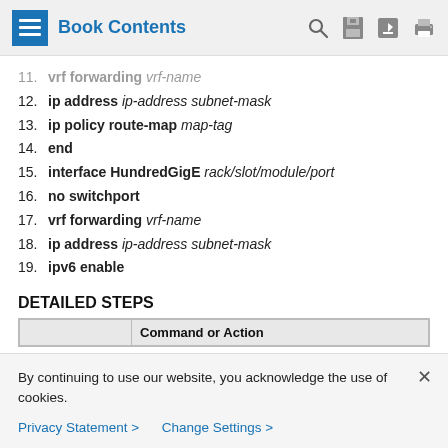Book Contents
11. vrf forwarding vrf-name
12. ip address ip-address subnet-mask
13. ip policy route-map map-tag
14. end
15. interface HundredGigE rack/slot/module/port
16. no switchport
17. vrf forwarding vrf-name
18. ip address ip-address subnet-mask
19. ipv6 enable
DETAILED STEPS
|  | Command or Action |
| --- | --- |
By continuing to use our website, you acknowledge the use of cookies.
Privacy Statement > Change Settings >